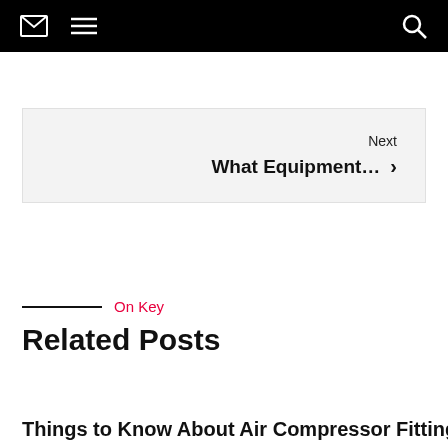Navigation bar with mail icon, menu icon, and search icon
Next
What Equipment...
On Key
Related Posts
Things to Know About Air Compressor Fittings